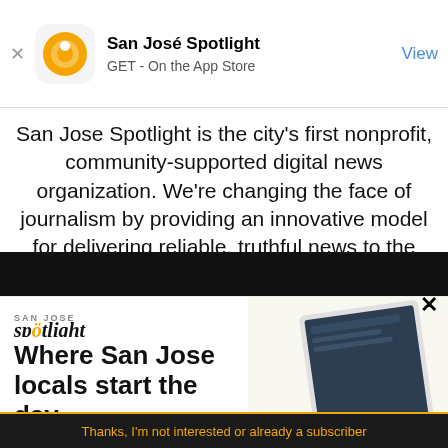[Figure (screenshot): App Store smart banner showing San José Spotlight app with orange logo icon, title 'San José Spotlight', subtitle 'GET - On the App Store', and blue 'View' button on the right. A close X is on the left.]
San Jose Spotlight is the city's first nonprofit, community-supported digital news organization. We're changing the face of journalism by providing an innovative model for delivering reliable, truthful news to the nation's 10th largest city. We're
[Figure (advertisement): San Jose Spotlight advertisement banner with logo 'spotlight', bold tagline 'Where San Jose locals start the day.', URL 'sanjosespotlight.com', and image of a tablet with news app and coffee cup on white background.]
EMAIL ADDRESS
SUBSCRIBE
Thanks, I'm not interested or already a subscriber